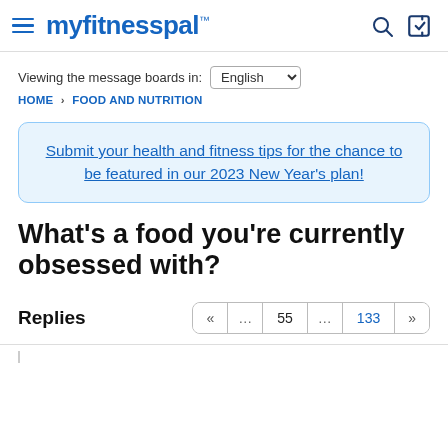myfitnesspal
Viewing the message boards in: English
HOME › FOOD AND NUTRITION
Submit your health and fitness tips for the chance to be featured in our 2023 New Year's plan!
What's a food you're currently obsessed with?
Replies  « ... 55 ... 133 »